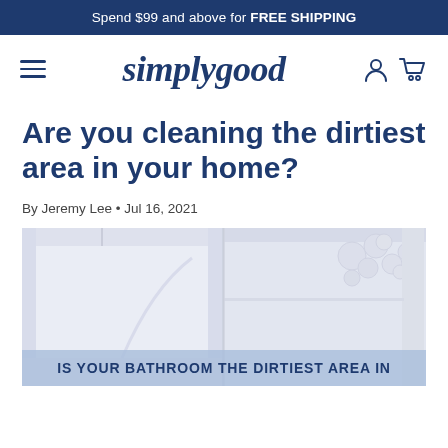Spend $99 and above for FREE SHIPPING
[Figure (logo): Simply Good logo with hamburger menu, italic serif logo text 'simplygood', and user/cart icons]
Are you cleaning the dirtiest area in your home?
By Jeremy Lee • Jul 16, 2021
[Figure (photo): Split photo of two bright white bathroom/kitchen interior spaces with pendant lights; bottom overlay text: IS YOUR BATHROOM THE DIRTIEST AREA IN]